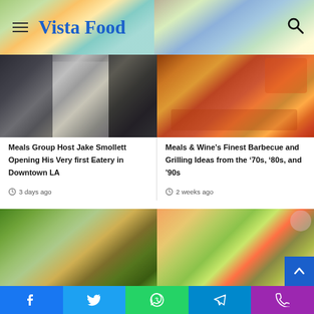Vista Food
[Figure (photo): Food blog header with colorful food photos background]
[Figure (photo): Chefs preparing food / baking in kitchen collage]
Meals Group Host Jake Smollett Opening His Very first Eatery in Downtown LA
3 days ago
[Figure (photo): Barbecue and grilled foods with colorful vegetables]
Meals & Wine’s Finest Barbecue and Grilling Ideas from the ‘70s, ‘80s, and ’90s
2 weeks ago
[Figure (photo): Green salad with croutons in a bowl]
[Figure (photo): Grain and vegetable salad bowl from above]
Facebook Twitter WhatsApp Telegram Phone